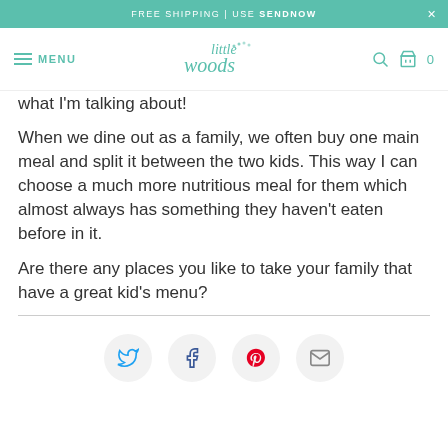FREE SHIPPING | USE SENDNOW
MENU | Little Woods | 0
what I'm talking about!
When we dine out as a family, we often buy one main meal and split it between the two kids. This way I can choose a much more nutritious meal for them which almost always has something they haven't eaten before in it.
Are there any places you like to take your family that have a great kid's menu?
[Figure (infographic): Social sharing icons: Twitter (blue bird), Facebook (blue f), Pinterest (red p), Email (envelope)]